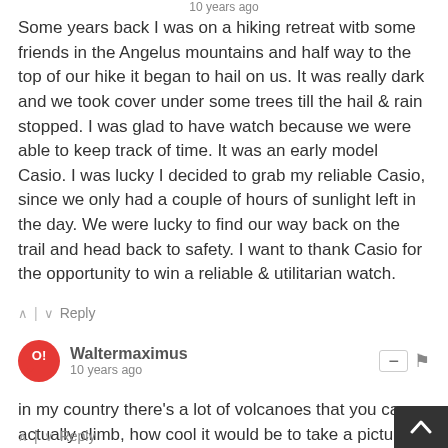10 years ago
Some years back I was on a hiking retreat witb some friends in the Angelus mountains and half way to the top of our hike it began to hail on us. It was really dark and we took cover under some trees till the hail & rain stopped. I was glad to have watch because we were able to keep track of time. It was an early model Casio. I was lucky I decided to grab my reliable Casio, since we only had a couple of hours of sunlight left in the day. We were lucky to find our way back on the trail and head back to safety. I want to thank Casio for the opportunity to win a reliable & utilitarian watch.
↑ | ↓  Reply
Waltermaximus
10 years ago
in my country there's a lot of volcanoes that you can actually climb, how cool it would be to take a picture with the watch actually showing the altitude you reach on each one
↑ | ↓  Reply